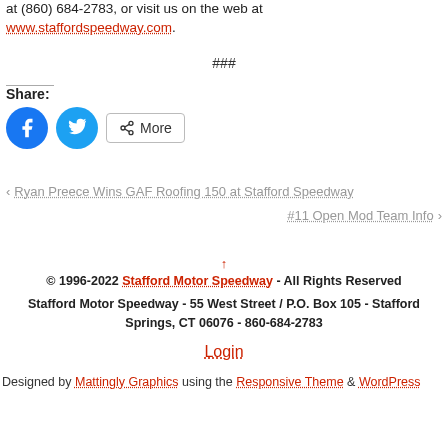at (860) 684-2783, or visit us on the web at www.staffordspeedway.com.
###
Share:
‹ Ryan Preece Wins GAF Roofing 150 at Stafford Speedway
#11 Open Mod Team Info ›
↑
© 1996-2022 Stafford Motor Speedway - All Rights Reserved
Stafford Motor Speedway - 55 West Street / P.O. Box 105 - Stafford Springs, CT 06076 - 860-684-2783
Login
Designed by Mattingly Graphics using the Responsive Theme & WordPress